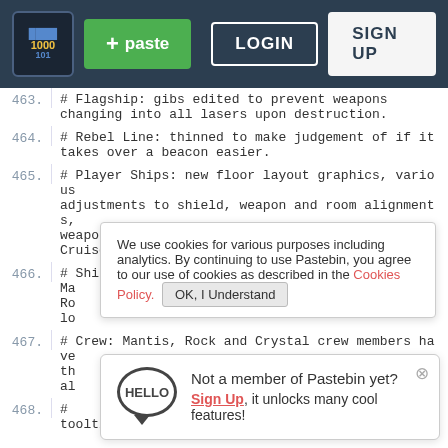[Figure (screenshot): Pastebin website navigation bar with logo, plus paste button, LOGIN and SIGN UP buttons on dark navy background]
463. # Flagship: gibs edited to prevent weapons changing into all lasers upon destruction.
464. # Rebel Line: thinned to make judgement of if it takes over a beacon easier.
465. # Player Ships: new floor layout graphics, various adjustments to shield, weapon and room alignments, weapon placements on the Federation and Rock Cruisers was altered.
466. # Ship Icons: KestrelA  KestrelB  StealthB Ma Ro lo
We use cookies for various purposes including analytics. By continuing to use Pastebin, you agree to our use of cookies as described in the Cookies Policy.   OK, I Understand
467. # Crew: Mantis, Rock and Crystal crew members have th al
Not a member of Pastebin yet? Sign Up, it unlocks many cool features!
468. # tooltips and short weapons name is changed to a